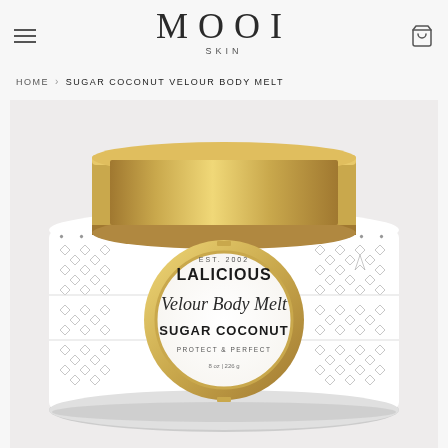MOOI SKIN — navigation header with hamburger menu and cart icon
HOME › SUGAR COCONUT VELOUR BODY MELT
[Figure (photo): Product photo of LALICIOUS Velour Body Melt in Sugar Coconut scent. A round white jar with a geometric dotted pattern label and a large gold metallic lid. The jar label features a gold circular badge with the text: EST. 2002 / LALICIOUS / Velour Body Melt / SUGAR COCONUT / PROTECT & PERFECT / 8 oz / 226 g]